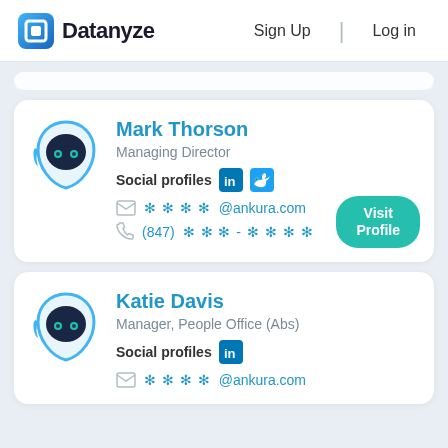Datanyze  Sign Up  Log in
Mark Thorson
Managing Director
Social profiles
****@ankura.com
(847) ***-****
Visit Profile
Katie Davis
Manager, People Office (Abs)
Social profiles
****@ankura.com